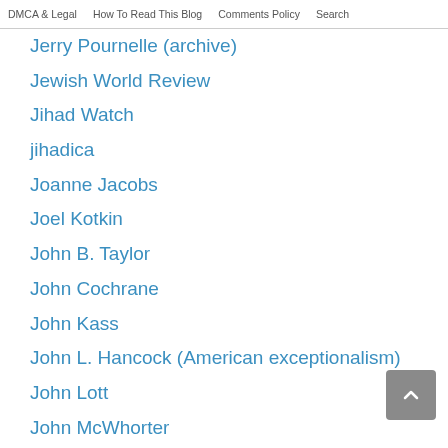DMCA & Legal   How To Read This Blog   Comments Policy   Search
Jerry Pournelle (archive)
Jewish World Review
Jihad Watch
jihadica
Joanne Jacobs
Joel Kotkin
John B. Taylor
John Cochrane
John Kass
John L. Hancock (American exceptionalism)
John Lott
John McWhorter
John Robb